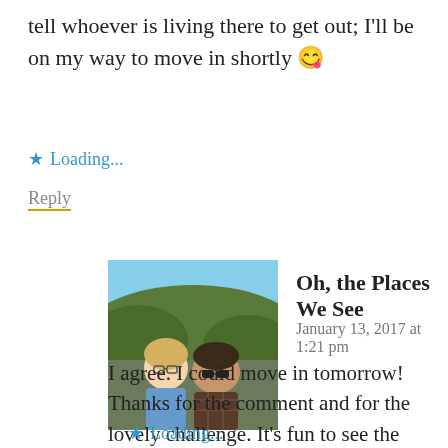tell whoever is living there to get out; I'll be on my way to move in shortly 😉
Loading...
Reply
[Figure (photo): Avatar photo of two people outdoors with trees and sky in background]
Oh, the Places We See
January 13, 2017 at 1:21 pm
I agree. I could move in tomorrow! Thanks for the comment and for the lovely challenge. It's fun to see the doors people submit.
Loading...
Reply